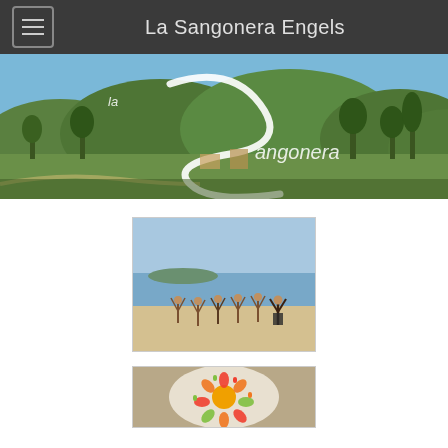La Sangonera Engels
[Figure (photo): Aerial/panoramic landscape photo of La Sangonera property showing green hills, trees, and structures with a stylized cursive 'la Sangonera' logo overlaid in white]
[Figure (photo): Photo of a group of people doing yoga or stretching poses on a sandy beach with calm blue sea in background]
[Figure (photo): Partial photo of a decorative plate with colorful flowers and vegetables arranged in an artistic pattern, partially cropped at bottom of page]